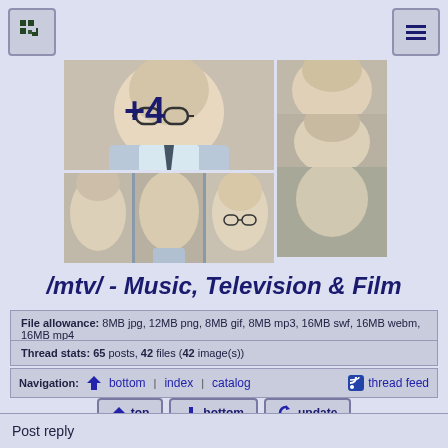[Figure (screenshot): Top-left pixel art icon button with green dots pattern]
[Figure (screenshot): Top-right hamburger menu icon button]
[Figure (photo): Image collage of people's faces with +4 overlay indicating more images]
/mtv/ - Music, Television & Film
File allowance: 8MB jpg, 12MB png, 8MB gif, 8MB mp3, 16MB swf, 16MB webm, 16MB mp4
Thread stats: 65 posts, 42 files (42 image(s))
Navigation: bottom index catalog thread feed
top bottom update
Post reply